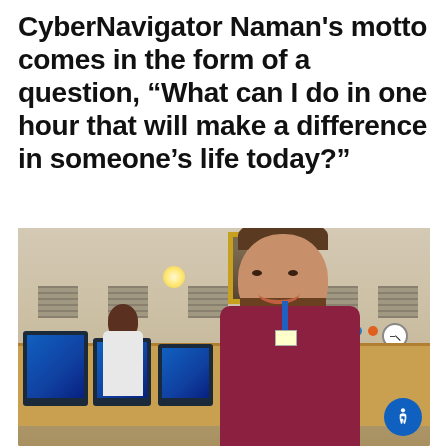CyberNavigator Naman's motto comes in the form of a question, "What can I do in one hour that will make a difference in someone's life today?"
[Figure (photo): A smiling bearded man in a maroon shirt standing in a library or community center, with computer workstations in the foreground and other patrons visible in the background. A portrait hangs on the wall behind him.]